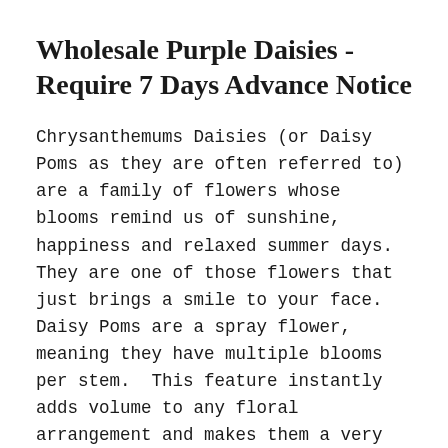Wholesale Purple Daisies - Require 7 Days Advance Notice
Chrysanthemums Daisies (or Daisy Poms as they are often referred to) are a family of flowers whose blooms remind us of sunshine, happiness and relaxed summer days.  They are one of those flowers that just brings a smile to your face.  Daisy Poms are a spray flower, meaning they have multiple blooms per stem.  This feature instantly adds volume to any floral arrangement and makes them a very popular filler flower.  Daisy Poms come in a wide range of natural colors, but they also take tinting very well - allowing you to customize these flowers to your specific needs.  Daisy Poms blend into any type of floral design, work well in flower foam as well as in water based centerpieces, and they look